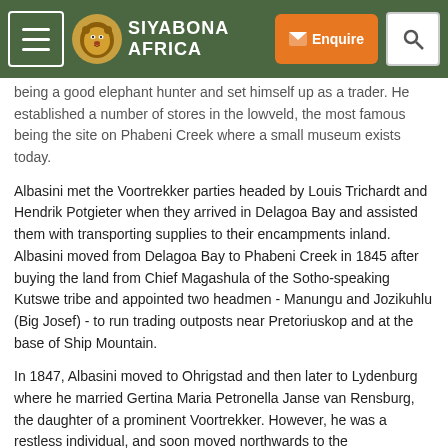SIYABONA AFRICA [navigation bar with hamburger menu, lion logo, Enquire button, and search button]
being a good elephant hunter and set himself up as a trader. He established a number of stores in the lowveld, the most famous being the site on Phabeni Creek where a small museum exists today.
Albasini met the Voortrekker parties headed by Louis Trichardt and Hendrik Potgieter when they arrived in Delagoa Bay and assisted them with transporting supplies to their encampments inland. Albasini moved from Delagoa Bay to Phabeni Creek in 1845 after buying the land from Chief Magashula of the Sotho-speaking Kutswe tribe and appointed two headmen - Manungu and Jozikuhlu (Big Josef) - to run trading outposts near Pretoriuskop and at the base of Ship Mountain.
In 1847, Albasini moved to Ohrigstad and then later to Lydenburg where he married Gertina Maria Petronella Janse van Rensburg, the daughter of a prominent Voortrekker. However, he was a restless individual, and soon moved northwards to the Soutspansberg before buying a farm near the Luvhuvhu River north of Punda Maria. He organised his own private army of Sotho-speakers who assisted him with protecting his trade networks and in hunting elephant.
In 1858, he was appointed Portuguese vice-consul to the Transvaal and, a